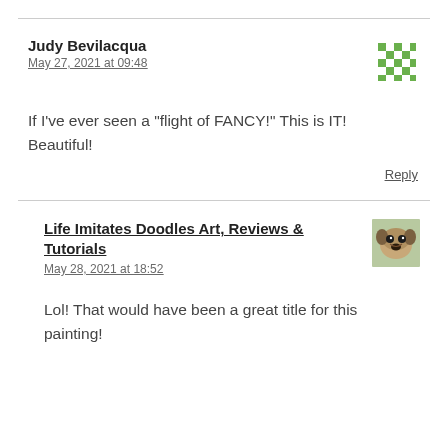Judy Bevilacqua
May 27, 2021 at 09:48
[Figure (illustration): Green pixel/mosaic pattern avatar for Judy Bevilacqua]
If I’ve ever seen a “flight of FANCY!” This is IT! Beautiful!
Reply
Life Imitates Doodles Art, Reviews & Tutorials
May 28, 2021 at 18:52
[Figure (photo): Small photo avatar of a pug dog face]
Lol! That would have been a great title for this painting!